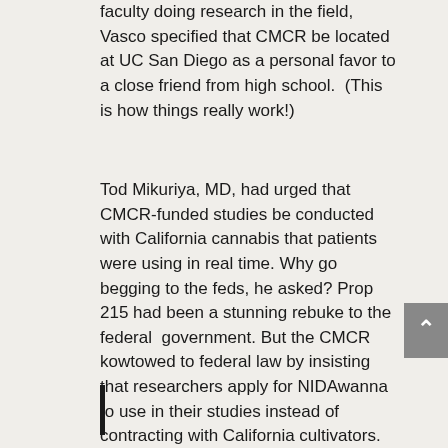faculty doing research in the field, Vasco specified that CMCR be located at UC San Diego as a personal favor to a close friend from high school.  (This is how things really work!)
Tod Mikuriya, MD, had urged that CMCR-funded studies be conducted with California cannabis that patients were using in real time. Why go begging to the feds, he asked? Prop 215 had been a stunning rebuke to the federal government. But the CMCR kowtowed to federal law by insisting that researchers apply for NIDAwanna to use in their studies instead of contracting with California cultivators. And that is their policy to this cbday. —Fred Gardner
|